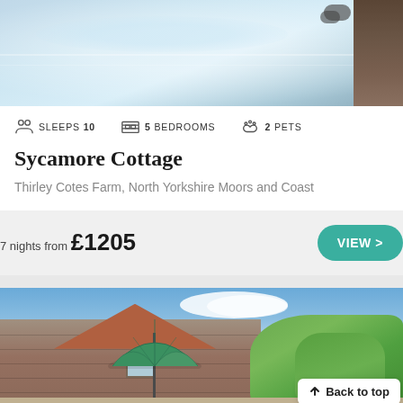[Figure (photo): Close-up photo of a hot tub filled with water, with wooden surround visible on the right side]
SLEEPS 10   5 BEDROOMS   2 PETS
Sycamore Cottage
Thirley Cotes Farm, North Yorkshire Moors and Coast
7 nights from £1205
VIEW >
[Figure (photo): Exterior photo of a stone cottage with a green garden umbrella in the foreground, blue sky with clouds in the background]
Back to top